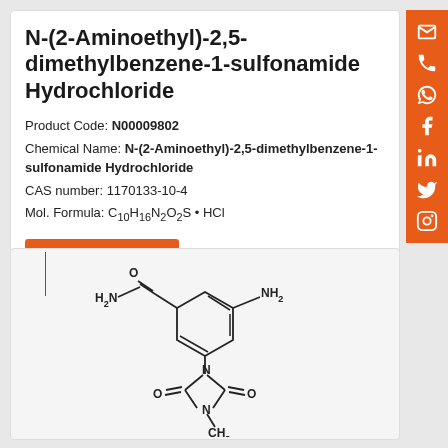N-(2-Aminoethyl)-2,5-dimethylbenzene-1-sulfonamide Hydrochloride
Product Code: N00009802
Chemical Name: N-(2-Aminoethyl)-2,5-dimethylbenzene-1-sulfonamide Hydrochloride
CAS number: 1170133-10-4
Mol. Formula: C10H16N2O2S · HCl
VIEW DETAILS
[Figure (illustration): Chemical structure diagram of a compound featuring a benzene ring with NH2 and H2N-CO substituents, connected via CH2 to a 5-membered imidazolidine ring with two carbonyl groups (C=O) and an N-CH3 group]